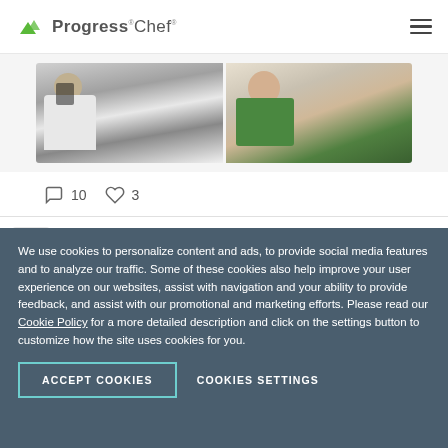Progress Chef
[Figure (photo): Two photos side by side: left shows a man in white formal attire, right shows a baby/child in green clothing]
10 comments, 3 likes
Progress Chef @chef · Aug 24
Be a part of #ChefConf22, the biggest #DevOps conference of the year by joining @sundar_tweets, EVP & GM DevOps,
We use cookies to personalize content and ads, to provide social media features and to analyze our traffic. Some of these cookies also help improve your user experience on our websites, assist with navigation and your ability to provide feedback, and assist with our promotional and marketing efforts. Please read our Cookie Policy for a more detailed description and click on the settings button to customize how the site uses cookies for you.
ACCEPT COOKIES
COOKIES SETTINGS